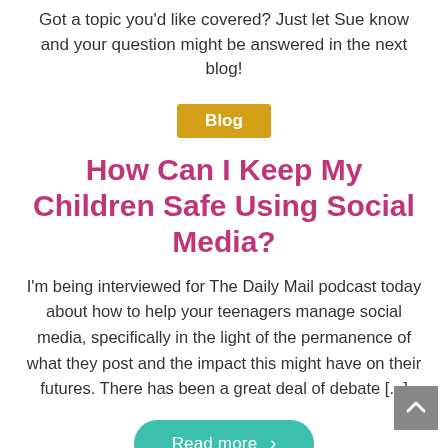Got a topic you'd like covered? Just let Sue know and your question might be answered in the next blog!
Blog
How Can I Keep My Children Safe Using Social Media?
I'm being interviewed for The Daily Mail podcast today about how to help your teenagers manage social media, specifically in the light of the permanence of what they post and the impact this might have on their futures. There has been a great deal of debate [...]
Read more >